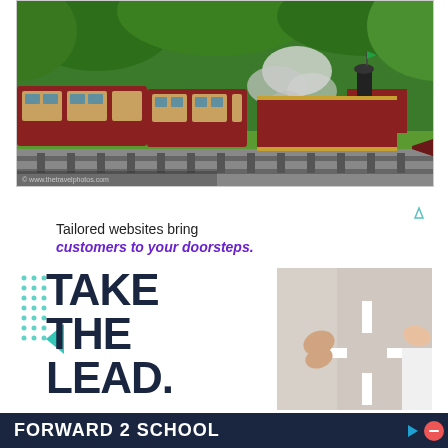[Figure (photo): A vintage red steam locomotive train traveling on tracks through a green wooded area, with steam/smoke visible, pulling red passenger cars. Photo credit watermark visible at bottom left.]
[Figure (infographic): Advertisement: 'Tailored websites bring customers to your doorsteps.' with 'TAKE THE LEAD.' in large bold text. Features teal/purple dot patterns and a photo of hands on a steering wheel. Ad indicator icon top right.]
[Figure (infographic): Advertisement banner: 'FORWARD 2 SCHOOL' in white bold text on dark navy background, with a red circular icon on right side. Small ad icon and close button visible.]